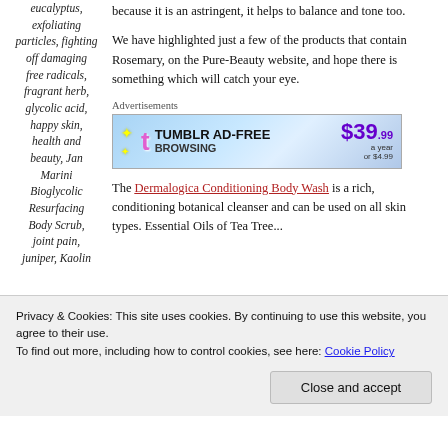eucalyptus, exfoliating particles, fighting off damaging free radicals, fragrant herb, glycolic acid, happy skin, health and beauty, Jan Marini Bioglycolic Resurfacing Body Scrub, joint pain, juniper, Kaolin
because it is an astringent, it helps to balance and tone too.
We have highlighted just a few of the products that contain Rosemary, on the Pure-Beauty website, and hope there is something which will catch your eye.
Advertisements
[Figure (infographic): Tumblr Ad-Free Browsing advertisement banner. Shows Tumblr logo 't' in pink, text 'TUMBLR AD-FREE BROWSING', price $39.99 a year or $4.99, blue gradient background with sparkle stars.]
The Dermalogica Conditioning Body Wash is a rich, conditioning botanical cleanser and can be used on all skin types. Essential Oils of Tea Tree...
Privacy & Cookies: This site uses cookies. By continuing to use this website, you agree to their use.
To find out more, including how to control cookies, see here: Cookie Policy
Close and accept